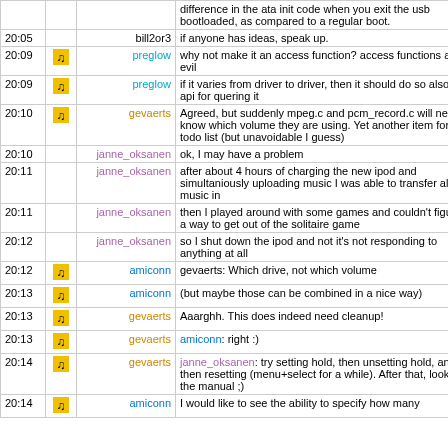| Time | Icon | User | Message |
| --- | --- | --- | --- |
|  |  |  | difference in the ata init code when you exit the usb bootloaded, as compared to a regular boot. |
| 20:05 |  | bill2or3 | if anyone has ideas, speak up. |
| 20:09 | [icon] | preglow | why not make it an access function? access functions are not evil |
| 20:09 | [icon] | preglow | if it varies from driver to driver, then it should do so also in the api for quering it |
| 20:10 | [icon] | gevaerts | Agreed, but suddenly mpeg.c and pcm_record.c will need to know which volume they are using. Yet another item for the todo list (but unavoidable I guess) |
| 20:10 |  | janne_oksanen | ok, I may have a problem |
| 20:11 |  | janne_oksanen | after about 4 hours of charging the new ipod and simultaniously uploading music I was able to transfer all my music in |
| 20:11 |  | janne_oksanen | then I played around with some games and couldn't figure out a way to get out of the solitaire game |
| 20:12 |  | janne_oksanen | so I shut down the ipod and not it's not responding to anything at all |
| 20:12 | [icon] | amiconn | gevaerts: Which drive, not which volume |
| 20:13 | [icon] | amiconn | (but maybe those can be combined in a nice way) |
| 20:13 | [icon] | gevaerts | Aaarghh. This does indeed need cleanup! |
| 20:13 | [icon] | gevaerts | amiconn: right :) |
| 20:14 | [icon] | gevaerts | janne_oksanen: try setting hold, then unsetting hold, and then resetting (menu+select for a while). After that, look for the manual ;) |
| 20:14 | [icon] | amiconn | I would like to see the ability to specify how many |